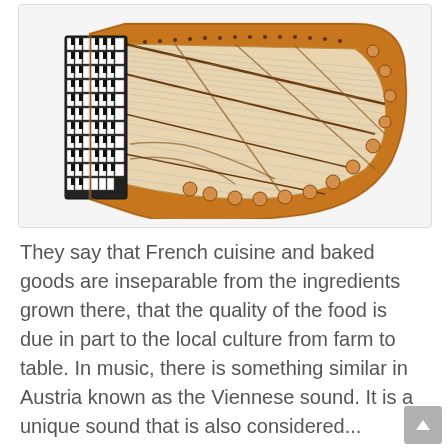[Figure (photo): Top-down view of a grand piano with the lid open, showing the internal wooden frame, strings, and keyboard in warm orange/brown tones against a white background.]
They say that French cuisine and baked goods are inseparable from the ingredients grown there, that the quality of the food is due in part to the local culture from farm to table. In music, there is something similar in Austria known as the Viennese sound. It is a unique sound that is also considered...
Read More